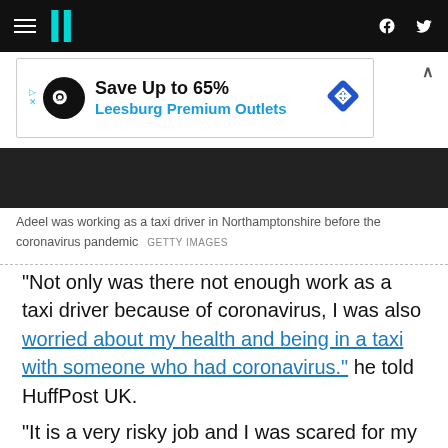HuffPost UK navigation bar with logo, hamburger menu, Facebook and Twitter icons
[Figure (other): Advertisement banner: Save Up to 65% Leesburg Premium Outlets]
[Figure (photo): Dark photo strip showing a taxi driver scene]
Adeel was working as a taxi driver in Northamptonshire before the coronavirus pandemic  GETTY IMAGES
“Not only was there not enough work as a taxi driver because of coronavirus, I was also worried about my health and being in a taxi with someone who had coronavirus.” he told HuffPost UK.
“It is a very risky job and I was scared for my health as I have rheumatoid arthritis.